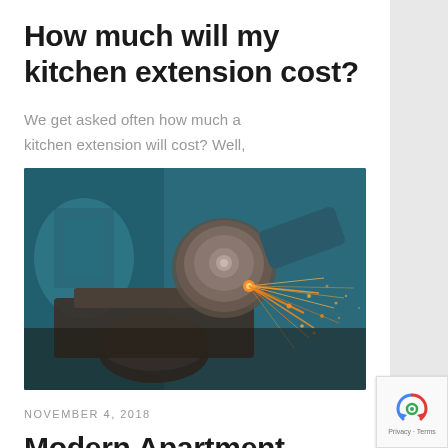How much will my kitchen extension cost?
We get asked often how much a kitchen extension will cost? Well,
[Figure (photo): A person using an angle grinder on metal pipes, with sparks flying in an industrial workshop setting]
NOVEMBER 4, 2018
Modern Apartment